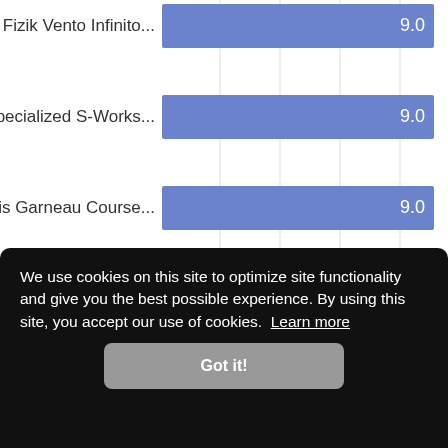[Figure (bar-chart): Cycling shoes ratings]
We use cookies on this site to optimize site functionality and give you the best possible experience. By using this site, you accept our use of cookies. Learn more